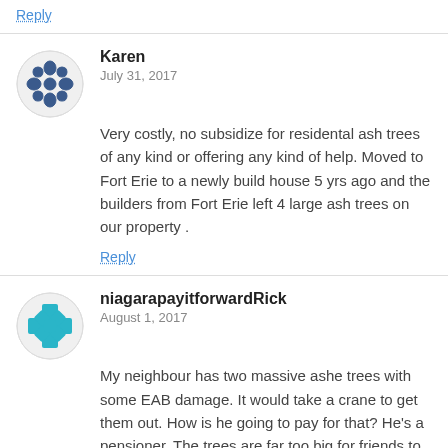Reply
Karen
July 31, 2017
Very costly, no subsidize for residental ash trees of any kind or offering any kind of help. Moved to Fort Erie to a newly build house 5 yrs ago and the builders from Fort Erie left 4 large ash trees on our property .
Reply
niagarapayitforwardRick
August 1, 2017
My neighbour has two massive ashe trees with some EAB damage. It would take a crane to get them out. How is he going to pay for that? He's a pensioner. The trees are far too big for friends to try and remove.
Reply